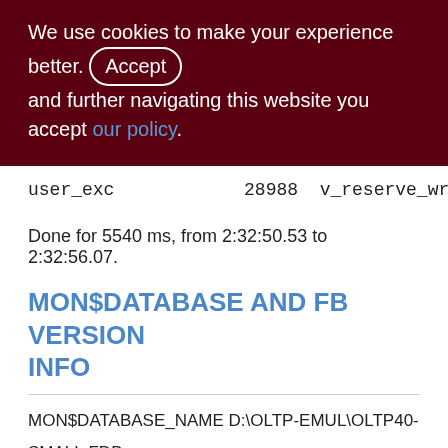We use cookies to make your experience better. By accepting and further navigating this website you accept our policy.
user_exc    28988  v_reserve_write_off
Done for 5540 ms, from 2:32:50.53 to 2:32:56.07.
MON$DATABASE AND FB VERSION INFO
MON$DATABASE_NAME D:\OLTP-EMUL\OLTP40-SMALL.FDB
MON$PAGE_SIZE 8192
MON$ODS_MAJOR 13
MON$ODS_MINOR 0